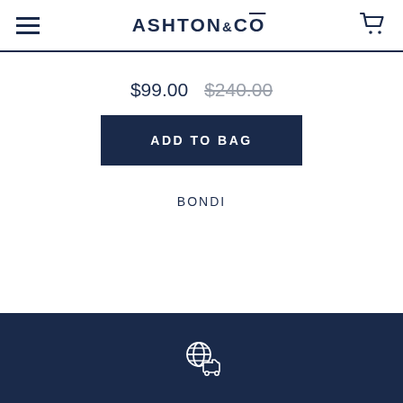ASHTON&CO
$99.00  $240.00
ADD TO BAG
BONDI